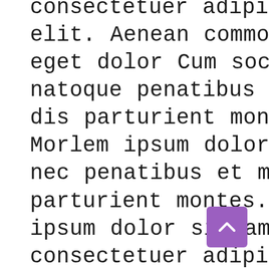consectetuer adipiscing elit. Aenean commodo ligula eget dolor Cum sociis natoque penatibus et magnis dis parturient montes. Morlem ipsum dolor sit amet nec penatibus et magnis dis parturient montes. Morlem ipsum dolor sit amet nec, consectetuer adipiscing elit. Aenean commodo ligula eget dolor. Aenean massa. Cum sociis natoque penatibus et magnis dis parturient montes. Morlem ipsum dolor sit amet nec, consectetuer adipiscing elit. Aenean commodo ligula eget
[Figure (other): Purple square button with a white upward-pointing chevron/arrow, positioned at bottom right]